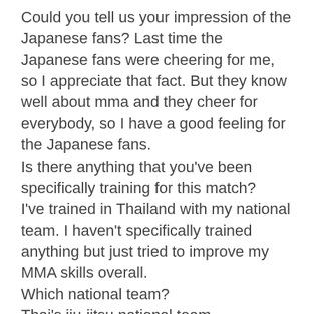Could you tell us your impression of the Japanese fans? Last time the Japanese fans were cheering for me, so I appreciate that fact. But they know well about mma and they cheer for everybody, so I have a good feeling for the Japanese fans.
Is there anything that you've been specifically training for this match?
I've trained in Thailand with my national team. I haven't specifically trained anything but just tried to improve my MMA skills overall.
Which national team?
Thai's jiu-jitsu national team.
Does that mean you've sort of emphasized jiu-jitsu this time?
There's an event called C-games in asia. I've entered that tournament in jiu-jitsu so absolutely yes my jiu jitsu capabilities.
Can you tell us your results at the C-games?